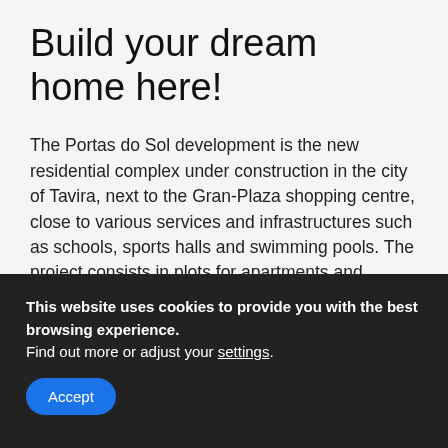Build your dream home here!
The Portas do Sol development is the new residential complex under construction in the city of Tavira, next to the Gran-Plaza shopping centre, close to various services and infrastructures such as schools, sports halls and swimming pools. The project consists in plots for apartments and housing construction. The residential complex will have a communal swimming pool, outdoor parking, garden and playground.
This website uses cookies to provide you with the best browsing experience. Find out more or adjust your settings.
Accept